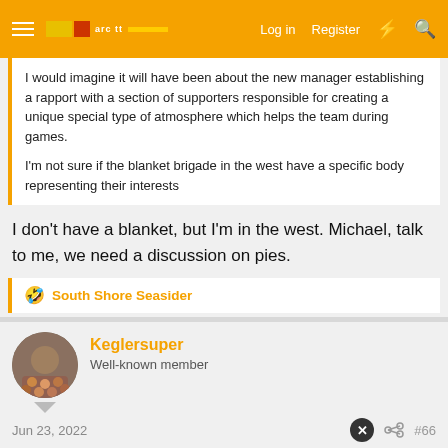Log in  Register
I would imagine it will have been about the new manager establishing a rapport with a section of supporters responsible for creating a unique special type of atmosphere which helps the team during games.

I'm not sure if the blanket brigade in the west have a specific body representing their interests
I don't have a blanket, but I'm in the west. Michael, talk to me, we need a discussion on pies.
🤣 South Shore Seasider
Keglersuper
Well-known member
Jun 23, 2022  #66
WIZARD OF TANGERINE said: ↑